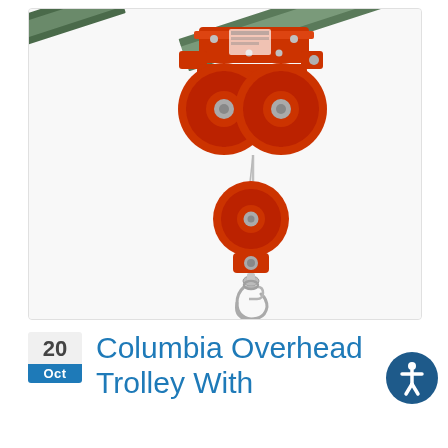[Figure (photo): Close-up photograph of a red Columbia Overhead Trolley pulley system mounted on a grey I-beam rail, with two large red sheave wheels and a stainless steel swivel hook at the bottom, on a white background.]
20 Oct
Columbia Overhead Trolley With